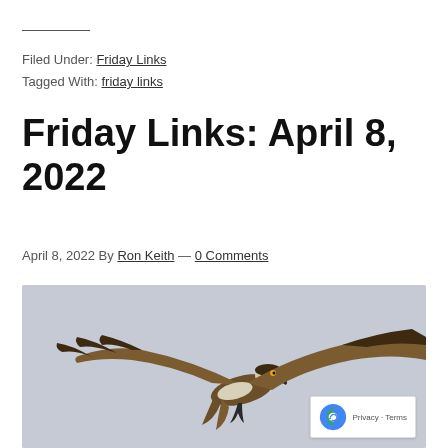Filed Under: Friday Links
Tagged With: friday links
Friday Links: April 8, 2022
April 8, 2022 By Ron Keith — 0 Comments
[Figure (photo): Osprey in flight with wings spread against a light grey sky background, viewed from below/side angle]